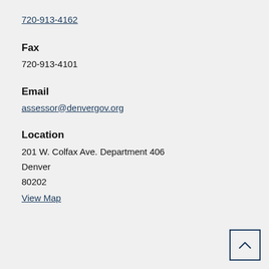720-913-4162
Fax
720-913-4101
Email
assessor@denvergov.org
Location
201 W. Colfax Ave. Department 406
Denver
80202
View Map